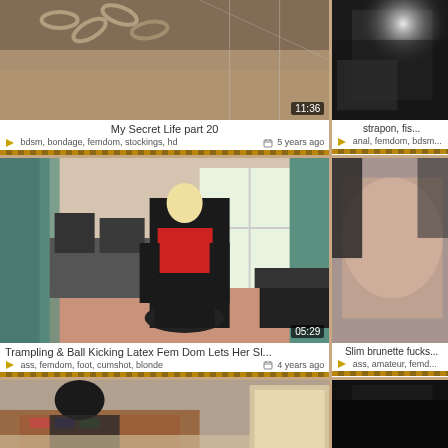[Figure (screenshot): Video thumbnail showing chain and skin texture close-up, brownish tones, with duration 11:36]
My Secret Life part 20
bdsm, bondage, femdom, stockings, hd   5 years ago
[Figure (screenshot): Partial right-side video thumbnail, dark tones]
strapon, fis...
anal, femdom, bdsm...
[Figure (screenshot): Video thumbnail of woman in red corset and black latex leggings bending over office chair, room with teal curtains, duration 05:29]
Trampling & Ball Kicking Latex Fem Dom Lets Her Sl...
ass, femdom, foot, cumshot, blonde   4 years ago
[Figure (screenshot): Partial right-side thumbnail, brunette close-up]
Slim brunette fucks...
ass, amateur, femd...
[Figure (screenshot): Bottom-left partial thumbnail, dark-haired woman on floor with colorful rug]
[Figure (screenshot): Bottom-right partial thumbnail, very dark tones]